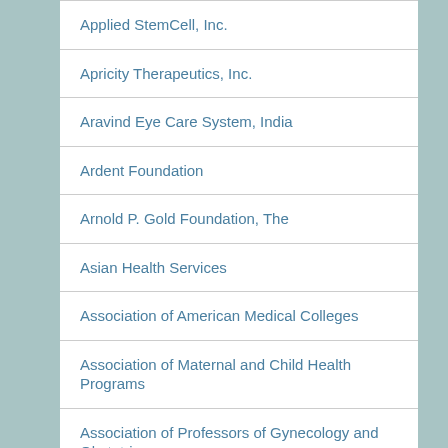Applied StemCell, Inc.
Apricity Therapeutics, Inc.
Aravind Eye Care System, India
Ardent Foundation
Arnold P. Gold Foundation, The
Asian Health Services
Association of American Medical Colleges
Association of Maternal and Child Health Programs
Association of Professors of Gynecology and Obstetrics